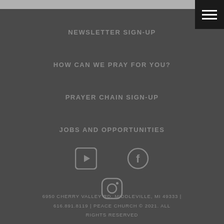NEWSLETTER SIGN-UP
HOW CAN WE PRAY FOR YOU?
PRAYER CHAIN SIGN-UP
JOBS AND OPPORTUNITIES
[Figure (illustration): YouTube, Facebook, and Instagram social media icons in gray circle outlines]
6950 CHERRY VALLEY RD, MIDDLEVILLE, MI 49333 | 616.891.8119 | PEACE CHURCH © 2021. ALL RIGHTS RESERVED